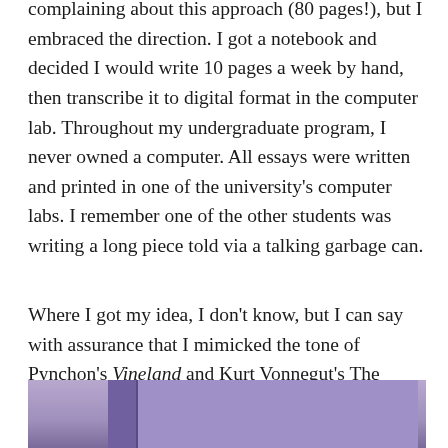complaining about this approach (80 pages!), but I embraced the direction. I got a notebook and decided I would write 10 pages a week by hand, then transcribe it to digital format in the computer lab. Throughout my undergraduate program, I never owned a computer. All essays were written and printed in one of the university's computer labs. I remember one of the other students was writing a long piece told via a talking garbage can.
Where I got my idea, I don't know, but I can say with assurance that I mimicked the tone of Pynchon's Vineland and Kurt Vonnegut's The Sirens of Titan (1959), which I had recently read. That is, I was self-consciously writing an absurdist, post-modernist story.
[Figure (photo): Partial view of book spines on a shelf, showing purple/violet colored books, cropped at bottom of page.]